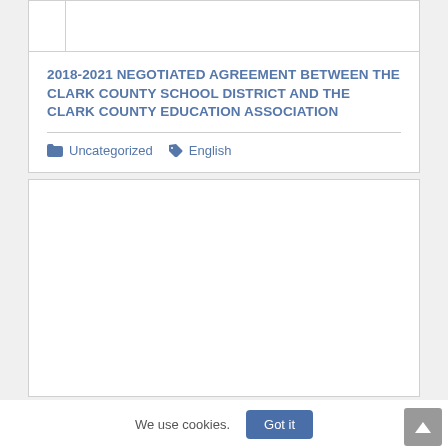2018-2021 NEGOTIATED AGREEMENT BETWEEN THE CLARK COUNTY SCHOOL DISTRICT AND THE CLARK COUNTY EDUCATION ASSOCIATION
Uncategorized   English
[Figure (other): Empty white card/placeholder area below the article card]
We use cookies.   Got it